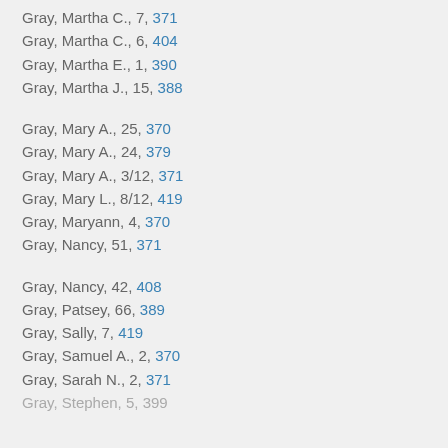Gray, Martha C., 7, 371
Gray, Martha C., 6, 404
Gray, Martha E., 1, 390
Gray, Martha J., 15, 388
Gray, Mary A., 25, 370
Gray, Mary A., 24, 379
Gray, Mary A., 3/12, 371
Gray, Mary L., 8/12, 419
Gray, Maryann, 4, 370
Gray, Nancy, 51, 371
Gray, Nancy, 42, 408
Gray, Patsey, 66, 389
Gray, Sally, 7, 419
Gray, Samuel A., 2, 370
Gray, Sarah N., 2, 371
Gray, Stephen, 5, 399